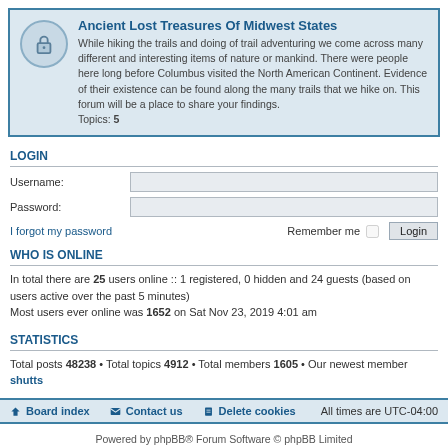Ancient Lost Treasures Of Midwest States
While hiking the trails and doing of trail adventuring we come across many different and interesting items of nature or mankind. There were people here long before Columbus visited the North American Continent. Evidence of their existence can be found along the many trails that we hike on. This forum will be a place to share your findings.
Topics: 5
LOGIN
Username:
Password:
I forgot my password
Remember me  Login
WHO IS ONLINE
In total there are 25 users online :: 1 registered, 0 hidden and 24 guests (based on users active over the past 5 minutes)
Most users ever online was 1652 on Sat Nov 23, 2019 4:01 am
STATISTICS
Total posts 48238 • Total topics 4912 • Total members 1605 • Our newest member shutts
Board index  Contact us  Delete cookies  All times are UTC-04:00
Powered by phpBB® Forum Software © phpBB Limited
Privacy | Terms